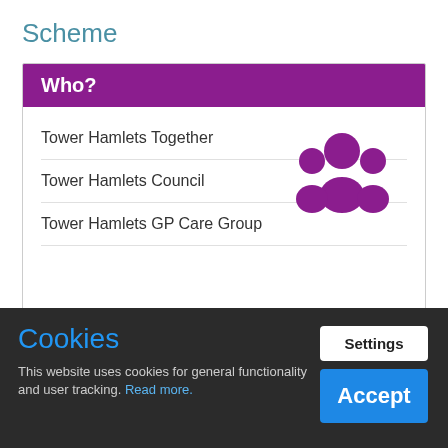Scheme
| Who? |
| --- |
| Tower Hamlets Together |
| Tower Hamlets Council |
| Tower Hamlets GP Care Group |
[Figure (illustration): Purple icon showing a group of three people (community/users icon)]
Cookies
This website uses cookies for general functionality and user tracking. Read more.
Settings
Accept